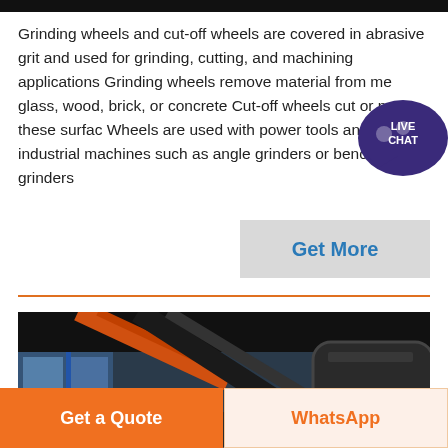Grinding wheels and cut-off wheels are covered in abrasive grit and used for grinding, cutting, and machining applications Grinding wheels remove material from metal, glass, wood, brick, or concrete Cut-off wheels cut or notch these surfac Wheels are used with power tools and industrial machines such as angle grinders or bench grinders
[Figure (other): Live Chat badge - circular purple badge with speech bubble icon labeled LIVE CHAT]
[Figure (other): Get More button - grey rectangular button with blue text]
[Figure (photo): Industrial manufacturing facility interior showing large metal vessels, pipes, and machinery in a dark workshop setting with blue-framed windows in background]
Get a Quote
WhatsApp